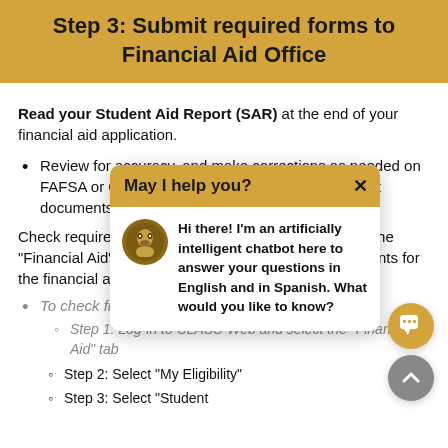Step 3: Submit required forms to Financial Aid Office
Read your Student Aid Report (SAR) at the end of your financial aid application.
Review for accuracy, and make corrections as needed on FAFSA or CA Dream Act website before you submit documents to our office.
Check required documents on CLASS-Web. Click on the "Financial Aid" tab to see your Financial Aid requirements for the financial aid year.
To check financial requirements:
Step 1: Log-in to CLASS-Web and select the "Financial Aid" tab
Step 2: Select "My Eligibility"
Step 3: Select "Student
[Figure (screenshot): Chatbot popup overlay with header 'May I help you?' and message 'Hi there! I'm an artificially intelligent chatbot here to answer your questions in English and in Spanish. What would you like to know?']